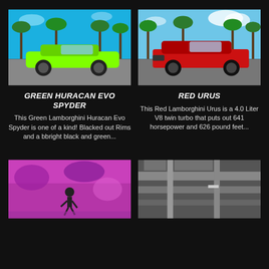[Figure (photo): Green Lamborghini Huracan Evo Spyder parked with palm trees and blue sky in background]
GREEN HURACAN EVO SPYDER
This Green Lamborghini Huracan Evo Spyder is one of a kind! Blacked out Rims and a bbright black and green...
[Figure (photo): Red Lamborghini Urus SUV parked with palm trees and blue sky in background]
RED URUS
This Red Lamborghini Urus is a 4.0 Liter V8 twin turbo that puts out 641 horsepower and 626 pound feet...
[Figure (photo): Colorful pink and purple mural on a building with a person jumping in front]
[Figure (photo): Concrete bridge or structure with grey tones]